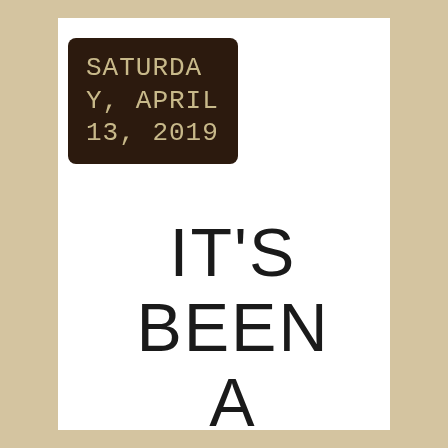SATURDAY, APRIL 13, 2019
IT'S BEEN A WHILE...